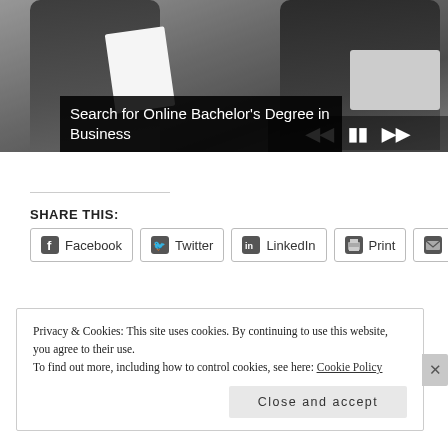[Figure (photo): Photo of business people at a meeting table with papers and laptops, with media playback controls overlay in the lower right corner]
Search for Online Bachelor's Degree in Business
SHARE THIS:
Facebook  Twitter  LinkedIn  Print  Email
Privacy & Cookies: This site uses cookies. By continuing to use this website, you agree to their use.
To find out more, including how to control cookies, see here: Cookie Policy
Close and accept